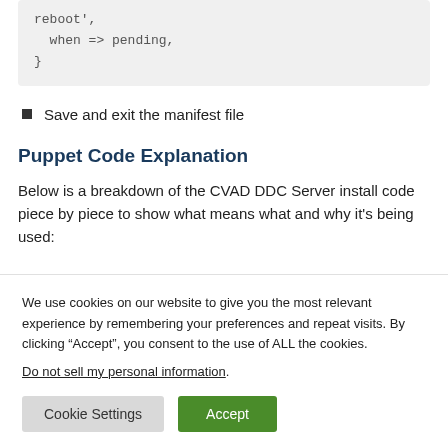reboot',
  when => pending,
}
Save and exit the manifest file
Puppet Code Explanation
Below is a breakdown of the CVAD DDC Server install code piece by piece to show what means what and why it's being used:
We use cookies on our website to give you the most relevant experience by remembering your preferences and repeat visits. By clicking “Accept”, you consent to the use of ALL the cookies.
Do not sell my personal information.
[Cookie Settings] [Accept]